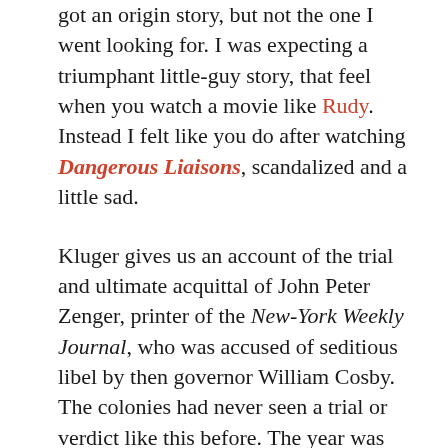got an origin story, but not the one I went looking for. I was expecting a triumphant little-guy story, that feel when you watch a movie like Rudy. Instead I felt like you do after watching Dangerous Liaisons, scandalized and a little sad.
Kluger gives us an account of the trial and ultimate acquittal of John Peter Zenger, printer of the New-York Weekly Journal, who was accused of seditious libel by then governor William Cosby. The colonies had never seen a trial or verdict like this before. The year was 1735. Not long before in England, it was illegal to print anything negative about those in power, whether or not one was printing the truth. The very suggestion of weakness in the ruling class could threaten faith in the social order, and the ruling class wouldn't allow it. Printing anything even remotely seditious could lead to jail time, the loss of an ear, even death.